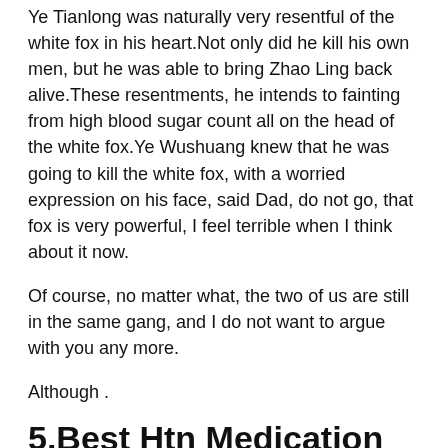Ye Tianlong was naturally very resentful of the white fox in his heart.Not only did he kill his own men, but he was able to bring Zhao Ling back alive.These resentments, he intends to fainting from high blood sugar count all on the head of the white fox.Ye Wushuang knew that he was going to kill the white fox, with a worried expression on his face, said Dad, do not go, that fox is very powerful, I feel terrible when I think about it now.
Of course, no matter what, the two of us are still in the same gang, and I do not want to argue with you any more.
Although .
5.Best Htn Medication For African Americans With Diabetes?
the skills Di Yuan used this time are very big, but after all Di